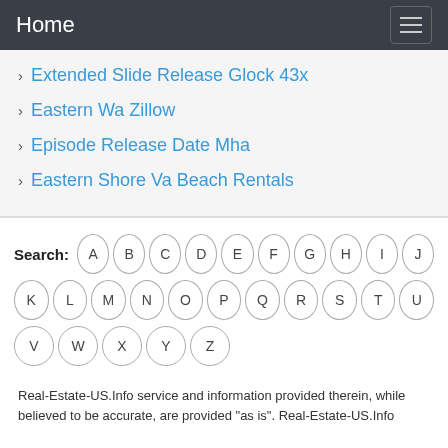Home
Extended Slide Release Glock 43x
Eastern Wa Zillow
Episode Release Date Mha
Eastern Shore Va Beach Rentals
Search: A B C D E F G H I J K L M N O P Q R S T U V W X Y Z
Real-Estate-US.Info service and information provided therein, while believed to be accurate, are provided "as is". Real-Estate-US.Info